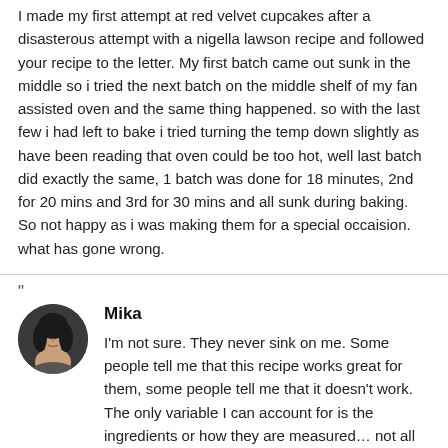I made my first attempt at red velvet cupcakes after a disasterous attempt with a nigella lawson recipe and followed your recipe to the letter. My first batch came out sunk in the middle so i tried the next batch on the middle shelf of my fan assisted oven and the same thing happened. so with the last few i had left to bake i tried turning the temp down slightly as have been reading that oven could be too hot, well last batch did exactly the same, 1 batch was done for 18 minutes, 2nd for 20 mins and 3rd for 30 mins and all sunk during baking. So not happy as i was making them for a special occaision. what has gone wrong.
"
Mika
I'm not sure. They never sink on me. Some people tell me that this recipe works great for them, some people tell me that it doesn't work. The only variable I can account for is the ingredients or how they are measured… not all ingredients are the same. I use daisy brand sour cream (I often choose the light version over the full fat), I use canola oil, and straight white vinegar from the big jugs they sell at the market. Since I bake often, my baking soda is usually used within a few months of opening – make sure your baking soda is fresh.